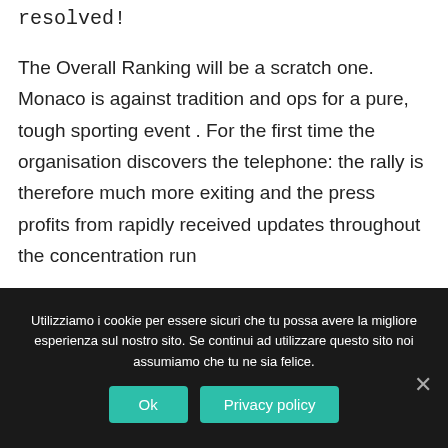resolved!
The Overall Ranking will be a scratch one. Monaco is against tradition and ops for a pure, tough sporting event . For the first time the organisation discovers the telephone: the rally is therefore much more exiting and the press profits from rapidly received updates throughout the concentration run
8 routes
Utilizziamo i cookie per essere sicuri che tu possa avere la migliore esperienza sul nostro sito. Se continui ad utilizzare questo sito noi assumiamo che tu ne sia felice.
Ok
Privacy policy